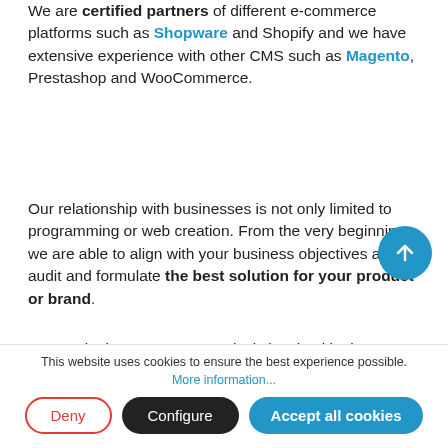We are certified partners of different e-commerce platforms such as Shopware and Shopify and we have extensive experience with other CMS such as Magento, Prestashop and WooCommerce.
Our relationship with businesses is not only limited to programming or web creation. From the very beginning, we are able to align with your business objectives and audit and formulate the best solution for your product or brand.
Our marketing experts are actively involved in the different stages of design and development. That's why the online shops we create are optimised from the start to achieve good search engine rankings and
This website uses cookies to ensure the best experience possible.
More information...
Deny
Configure
Accept all cookies